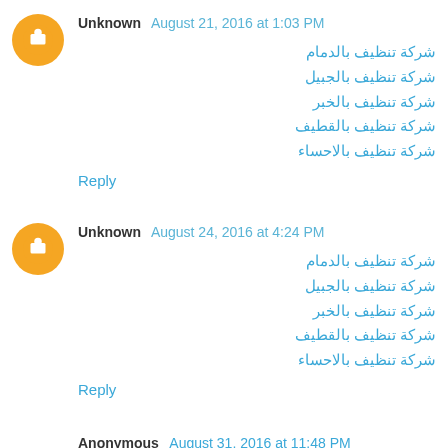Unknown August 21, 2016 at 1:03 PM
شركة تنظيف بالدمام
شركة تنظيف بالجبيل
شركة تنظيف بالخبر
شركة تنظيف بالقطيف
شركة تنظيف بالاحساء
Reply
Unknown August 24, 2016 at 4:24 PM
شركة تنظيف بالدمام
شركة تنظيف بالجبيل
شركة تنظيف بالخبر
شركة تنظيف بالقطيف
شركة تنظيف بالاحساء
Reply
Anonymous August 31, 2016 at 11:48 PM
Want to know about Veterans Day which is celebrated in